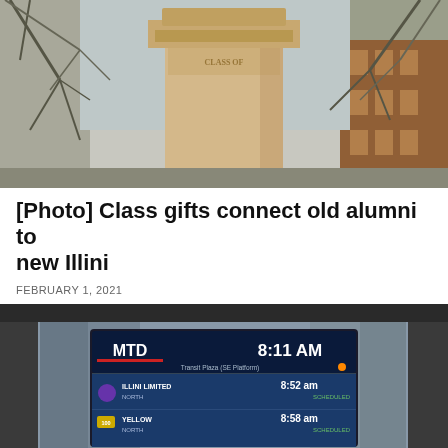[Figure (photo): Stone pillar/column monument with bare winter trees and red brick building in background, outdoor campus scene]
[Photo] Class gifts connect old alumni to new Illini
FEBRUARY 1, 2021
[Figure (photo): MTD (Mass Transit District) bus stop digital display showing 8:11 AM, Transit Plaza (SE Platform), with upcoming bus arrivals: ILLINI LIMITED North at 8:52 am (SCHEDULED) and YELLOW North at 8:58 am (SCHEDULED). Bus stop shelter with trees and buildings in background.]